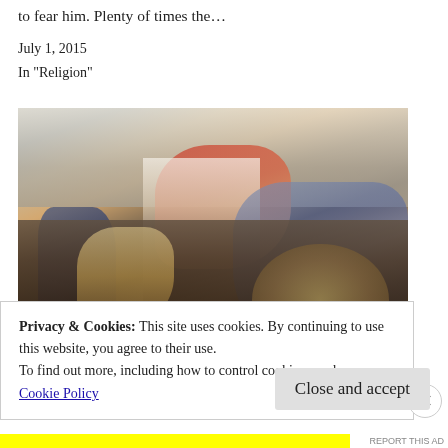to fear him. Plenty of times the…
July 1, 2015
In "Religion"
[Figure (illustration): A historical or biblical painting depicting a central figure in white and red robes with arm outstretched, surrounded by a crowd of soldiers and warriors in a dramatic battle or confrontational scene.]
Privacy & Cookies: This site uses cookies. By continuing to use this website, you agree to their use.
To find out more, including how to control cookies, see here:
Cookie Policy
Close and accept